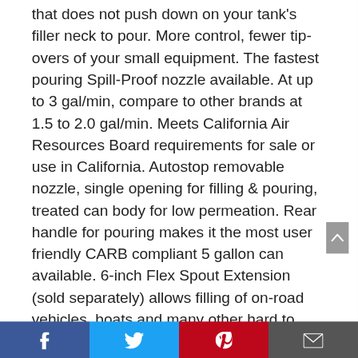that does not push down on your tank's filler neck to pour. More control, fewer tip-overs of your small equipment. The fastest pouring Spill-Proof nozzle available. At up to 3 gal/min, compare to other brands at 1.5 to 2.0 gal/min. Meets California Air Resources Board requirements for sale or use in California. Autostop removable nozzle, single opening for filling & pouring, treated can body for low permeation. Rear handle for pouring makes it the most user friendly CARB compliant 5 gallon can available. 6-inch Flex Spout Extension (sold separately) allows filling of on-road vehicles, boats and many other hard to reach tank openings. No-
[Figure (other): Social media share bar with Facebook, Twitter, Pinterest, and email buttons]